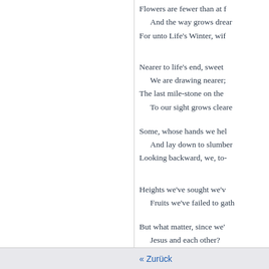Flowers are fewer than at f
  And the way grows drear
For unto Life's Winter, wif
Nearer to life's end, sweet 
  We are drawing nearer;
The last mile-stone on the 
  To our sight grows cleare
Some, whose hands we hel
  And lay down to slumber
Looking backward, we, to-
Heights we've sought we'v
  Fruits we've failed to gath
But what matter, since we'
  Jesus and each other?
« Zurück